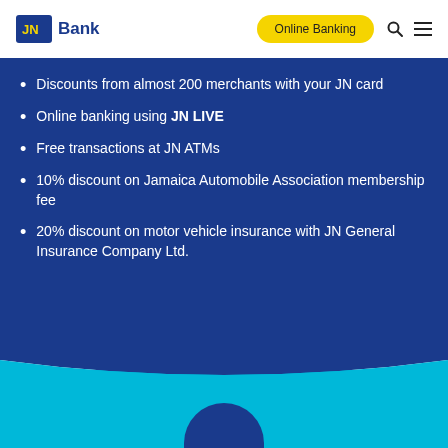JN Bank | Online Banking
Discounts from almost 200 merchants with your JN card
Online banking using JN LIVE
Free transactions at JN ATMs
10% discount on Jamaica Automobile Association membership fee
20% discount on motor vehicle insurance with JN General Insurance Company Ltd.
[Figure (illustration): Wave divider between dark blue section and teal section, with a dark blue circle/arc at the bottom center]